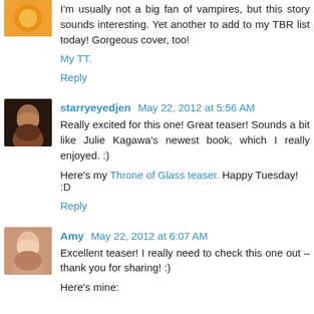I'm usually not a big fan of vampires, but this story sounds interesting. Yet another to add to my TBR list today! Gorgeous cover, too!
My TT.
Reply
starryeyedjen May 22, 2012 at 5:56 AM
Really excited for this one! Great teaser! Sounds a bit like Julie Kagawa's newest book, which I really enjoyed. :)
Here's my Throne of Glass teaser. Happy Tuesday! :D
Reply
Amy May 22, 2012 at 6:07 AM
Excellent teaser! I really need to check this one out – thank you for sharing! :)
Here's mine: